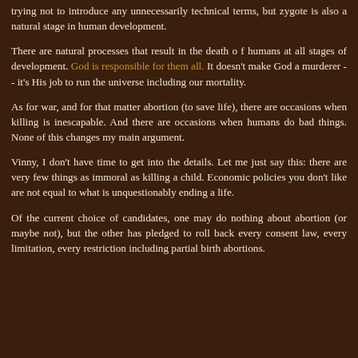trying not to introduce any unnecessarily technical terms, but zygote is also a natural stage in human development.
There are natural processes that result in the death of humans at all stages of development. God is responsible for them all. It doesn't make God a murderer -- it's His job to run the universe including our mortality.
As for war, and for that matter abortion (to save life), there are occasions when killing is inescapable. And there are occasions when humans do bad things. None of this changes my main argument.
Vinny, I don't have time to get into the details. Let me just say this: there are very few things as immoral as killing a child. Economic policies you don't like are not equal to what is unquestionably ending a life.
Of the current choice of candidates, one may do nothing about abortion (or maybe not), but the other has pledged to roll back every consent law, every limitation, every restriction including partial birth abortions.